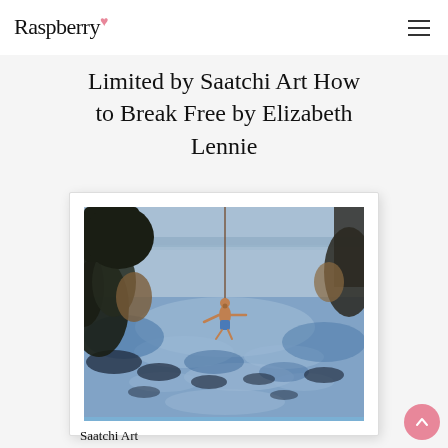Raspberry
Limited by Saatchi Art How to Break Free by Elizabeth Lennie
[Figure (photo): A framed painting showing a person swinging on a rope over a reflective body of water with blue and light tones, rocks and dark vegetation visible around the edges. The artwork is displayed with a white mat and frame. Caption below reads 'Saatchi Art'.]
Saatchi Art